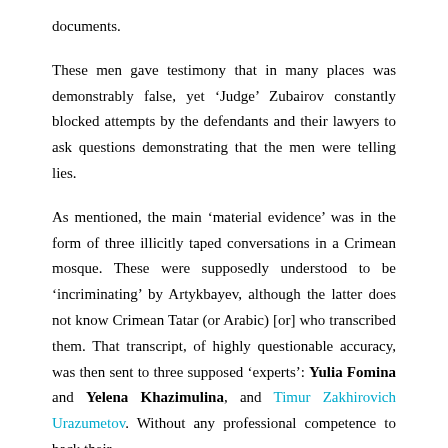documents.
These men gave testimony that in many places was demonstrably false, yet ‘Judge’ Zubairov constantly blocked attempts by the defendants and their lawyers to ask questions demonstrating that the men were telling lies.
As mentioned, the main ‘material evidence’ was in the form of three illicitly taped conversations in a Crimean mosque. These were supposedly understood to be ‘incriminating’ by Artykbayev, although the latter does not know Crimean Tatar (or Arabic) [or] who transcribed them. That transcript, of highly questionable accuracy, was then sent to three supposed ‘experts’: Yulia Fomina and Yelena Khazimulina, and Timur Zakhirovich Urazumetov. Without any professional competence to back their